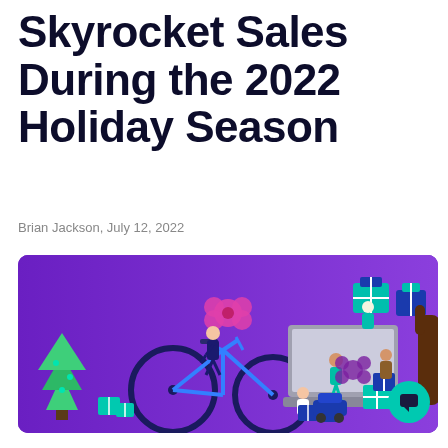Skyrocket Sales During the 2022 Holiday Season
Brian Jackson, July 12, 2022
[Figure (illustration): Holiday season e-commerce illustration on purple background featuring a bicycle, laptop, Christmas tree, gift boxes, and cartoon figures of people shopping and wrapping presents.]